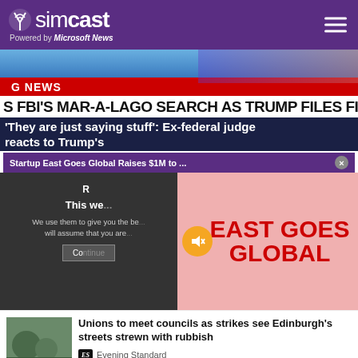simcast — Powered by Microsoft News
[Figure (screenshot): Breaking news hero image showing news broadcast with 'G NEWS' red banner]
S FBI'S MAR-A-LAGO SEARCH AS TRUMP FILES FIRST S
'They are just saying stuff': Ex-federal judge reacts to Trump's
Startup East Goes Global Raises $1M to ... ×
[Figure (screenshot): Cookie consent dark overlay with text 'This we...' and 'We use them to give you the be... will assume that you are...' and a Continue button]
[Figure (logo): East Goes Global red logo with mute button overlay on pink background]
Unions to meet councils as strikes see Edinburgh's streets strewn with rubbish
Evening Standard
Janet Jackson music video 'has power to crash laptops'